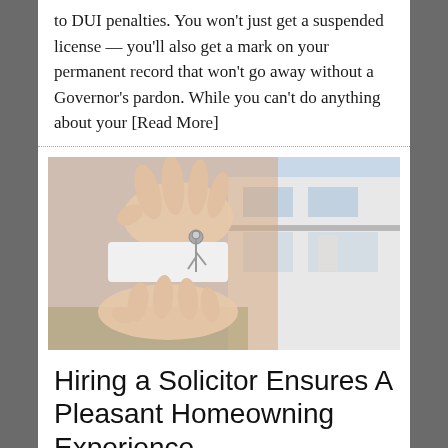to DUI penalties. You won't just get a suspended license — you'll also get a mark on your permanent record that won't go away without a Governor's pardon. While you can't do anything about your [Read More]
[Figure (photo): A hand passing car keys to another open hand, with a house exterior visible in the background]
Hiring a Solicitor Ensures A Pleasant Homeowning Experience